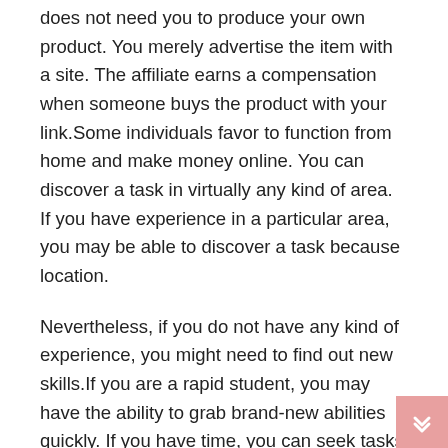does not need you to produce your own product. You merely advertise the item with a site. The affiliate earns a compensation when someone buys the product with your link.Some individuals favor to function from home and make money online. You can discover a task in virtually any kind of area. If you have experience in a particular area, you may be able to discover a task because location.
Nevertheless, if you do not have any kind of experience, you might need to find out new skills.If you are a rapid student, you may have the ability to grab brand-new abilities quickly. If you have time, you can seek tasks that you can do in the house. These work will typically pay a whole lot more than a normal job.